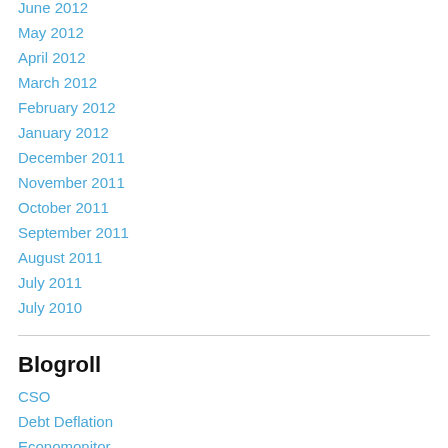June 2012
May 2012
April 2012
March 2012
February 2012
January 2012
December 2011
November 2011
October 2011
September 2011
August 2011
July 2011
July 2010
Blogroll
CSO
Debt Deflation
Economonitor